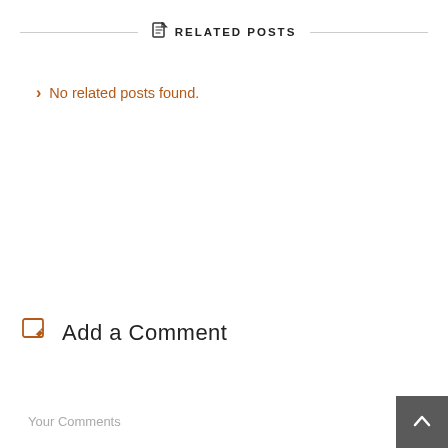RELATED POSTS
No related posts found.
Add a Comment
Your Comments